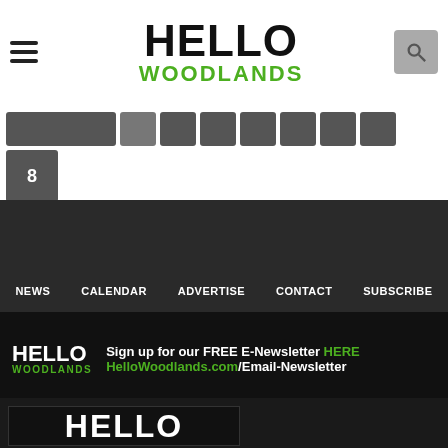HELLO WOODLANDS
[Figure (screenshot): Pagination buttons row with numbers, last visible button shows 8]
[Figure (screenshot): Dark empty section divider]
NEWS   CALENDAR   ADVERTISE   CONTACT   SUBSCRIBE
[Figure (screenshot): Newsletter signup banner: HELLO WOODLANDS logo, Sign up for our FREE E-Newsletter HERE, HelloWoodlands.com/Email-Newsletter]
[Figure (screenshot): Bottom dark section with partial HELLO WOODLANDS logo]